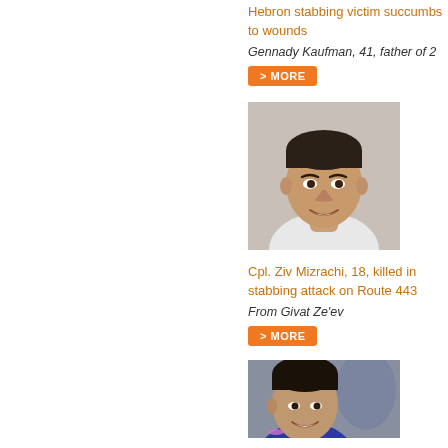Hebron stabbing victim succumbs to wounds
Gennady Kaufman, 41, father of 2
> MORE
[Figure (photo): Portrait photo of young man smiling, close-up headshot]
Cpl. Ziv Mizrachi, 18, killed in stabbing attack on Route 443
From Givat Ze'ev
> MORE
[Figure (photo): Portrait photo of young man smiling, partial crop at bottom of page]